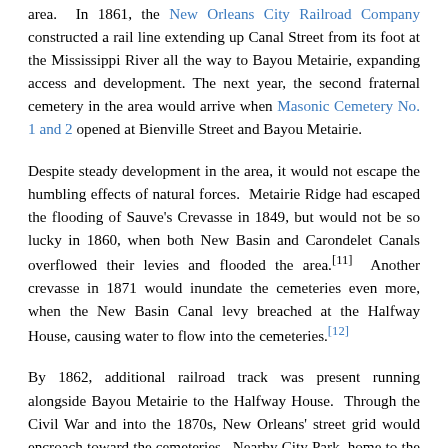area.  In 1861, the New Orleans City Railroad Company constructed a rail line extending up Canal Street from its foot at the Mississippi River all the way to Bayou Metairie, expanding access and development. The next year, the second fraternal cemetery in the area would arrive when Masonic Cemetery No. 1 and 2 opened at Bienville Street and Bayou Metairie.
Despite steady development in the area, it would not escape the humbling effects of natural forces.  Metairie Ridge had escaped the flooding of Sauve's Crevasse in 1849, but would not be so lucky in 1860, when both New Basin and Carondelet Canals overflowed their levies and flooded the area.[11]  Another crevasse in 1871 would inundate the cemeteries even more, when the New Basin Canal levy breached at the Halfway House, causing water to flow into the cemeteries.[12]
By 1862, additional railroad track was present running alongside Bayou Metairie to the Halfway House.  Through the Civil War and into the 1870s, New Orleans' street grid would encroach toward the cemeteries.  Nearby City Park, home to the famous "dueling oaks,"